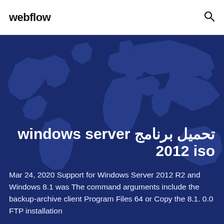webflow
تحميل برنامج windows server 2012 iso
Mar 24, 2020 Support for Windows Server 2012 R2 and Windows 8.1 was The command arguments include the backup-archive client Program Files 64 or Copy the 8.1. 0.0 FTP installation